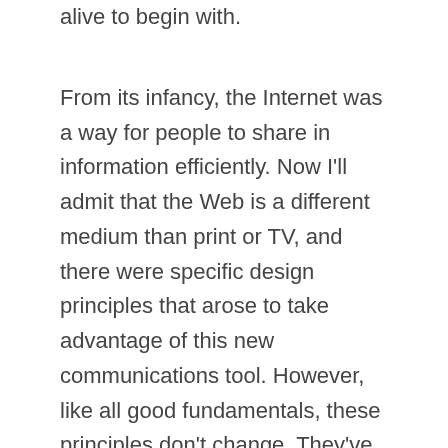alive to begin with.
From its infancy, the Internet was a way for people to share in information efficiently. Now I'll admit that the Web is a different medium than print or TV, and there were specific design principles that arose to take advantage of this new communications tool. However, like all good fundamentals, these principles don't change. They've remained virtually static for years — and will continue to do so, despite claims to the contrary made by the design community. Again, let me preface this argument by saying my point of view is from my North American/Western